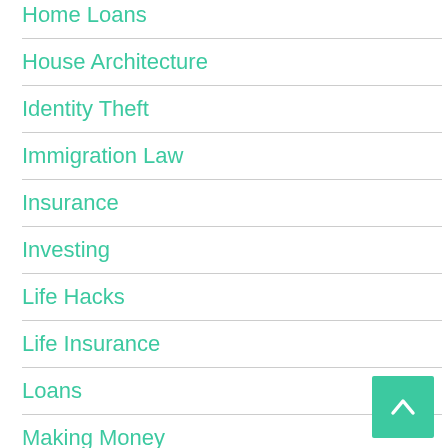Home Loans
House Architecture
Identity Theft
Immigration Law
Insurance
Investing
Life Hacks
Life Insurance
Loans
Making Money
Managing Debts
Market News
Money